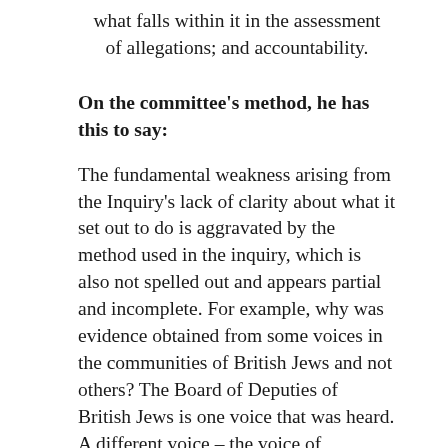what falls within it in the assessment of allegations; and accountability.
On the committee's method, he has this to say:
The fundamental weakness arising from the Inquiry's lack of clarity about what it set out to do is aggravated by the method used in the inquiry, which is also not spelled out and appears partial and incomplete. For example, why was evidence obtained from some voices in the communities of British Jews and not others? The Board of Deputies of British Jews is one voice that was heard. A different voice – the voice of Independent Jewish Voices – was